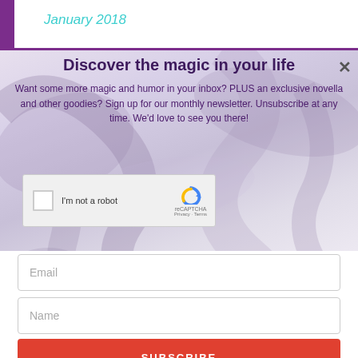January 2018
Discover the magic in your life
Want some more magic and humor in your inbox? PLUS an exclusive novella and other goodies? Sign up for our monthly newsletter. Unsubscribe at any time. We'd love to see you there!
[Figure (other): reCAPTCHA widget with checkbox labeled I'm not a robot]
Email
Name
SUBSCRIBE